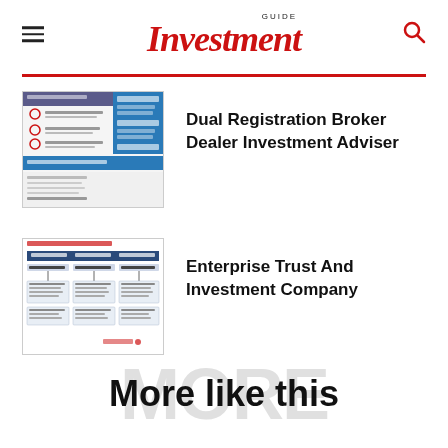GUIDE Investment
[Figure (screenshot): Thumbnail of Dual Registration Broker Dealer Investment Adviser document showing blue and white layout]
Dual Registration Broker Dealer Investment Adviser
[Figure (screenshot): Thumbnail of Bank of America Business Client Coverage organizational chart]
Enterprise Trust And Investment Company
More like this